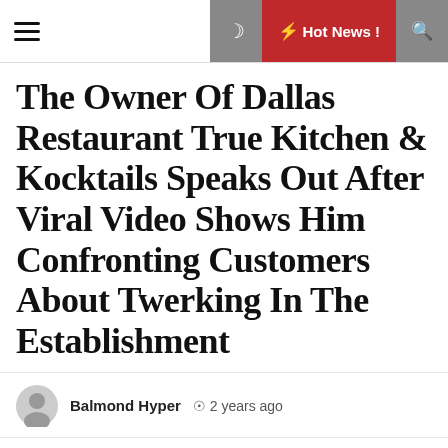☰  [moon]  ⚡ Hot News !  🔍
The Owner Of Dallas Restaurant True Kitchen & Kocktails Speaks Out After Viral Video Shows Him Confronting Customers About Twerking In The Establishment
Balmond Hyper  ⊙ 2 years ago
The owner of the Dallas establishment True Kitchen & Kocktails has been going viral after he was seen